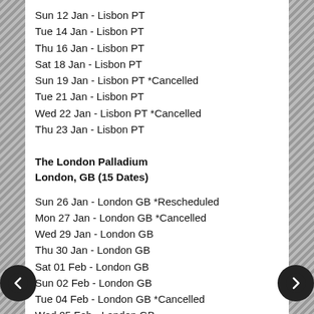Sun 12 Jan - Lisbon PT
Tue 14 Jan - Lisbon PT
Thu 16 Jan - Lisbon PT
Sat 18 Jan - Lisbon PT
Sun 19 Jan - Lisbon PT *Cancelled
Tue 21 Jan - Lisbon PT
Wed 22 Jan - Lisbon PT *Cancelled
Thu 23 Jan - Lisbon PT
The London Palladium
London, GB (15 Dates)
Sun 26 Jan - London GB *Rescheduled
Mon 27 Jan - London GB *Cancelled
Wed 29 Jan - London GB
Thu 30 Jan - London GB
Sat 01 Feb - London GB
Sun 02 Feb - London GB
Tue 04 Feb - London GB *Cancelled
Wed 05 Feb - London GB
Thu 06 Feb - London GB
Sat 08 Feb - London GB
Sun 09 Feb - London GB
Tue 11 Feb - London GB *Cancelled
Wed 12 Feb - London GB
Thu 13 Feb - London GB
Sat 15 Feb - London GB